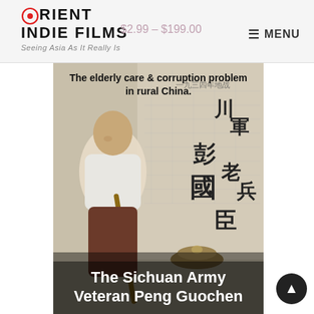Orient Indie Films — Seeing Asia As It Really Is
$2.99 – $199.00
MENU
[Figure (photo): An elderly Chinese man leaning on a wooden walking stick, examining a large map on a wall. Chinese characters are visible on the right side of the image. A military-style cap is placed on a ledge. Text overlay reads 'The elderly care & corruption problem in rural China.' and 'The Sichuan Army Veteran Peng Guochen']